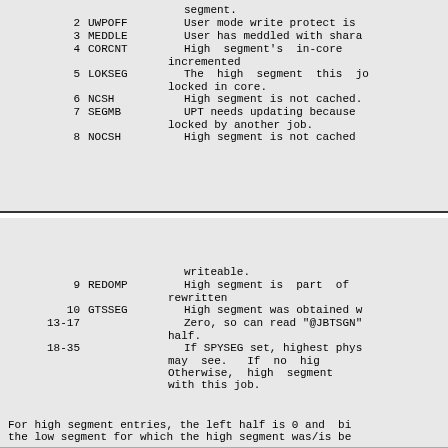| Bit | Name | Description |
| --- | --- | --- |
|  |  | segment. |
| 2 | UWPOFF | User mode write protect is |
| 3 | MEDDLE | User has meddled with shara |
| 4 | CORCNT | High segment's  in-core
incremented |
| 5 | LOKSEG | The high  segment  this  jo
locked in core. |
| 6 | NCSH | High segment is not cached. |
| 7 | SEGMB | UPT needs updating because
locked by another job. |
| 8 | NOCSH | High segment is not cached |
| Bit | Name | Description |
| --- | --- | --- |
|  |  | writeable. |
| 9 | REDOMP | High segment is  part  of
rewritten |
| 10 | GTSSEG | High segment was obtained w |
| 13-17 |  | Zero, so can read "@JBTSGN"
half. |
| 18-35 |  | If SPYSEG set, highest phys
may  see.   If  no  hig
Otherwise, high  segment
with this job. |
For high segment entries, the left half is 0 and bi
the low segment for which the high segment was/is be